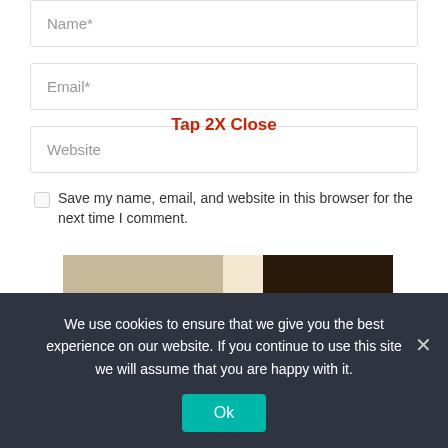Name*
Email*
Website
Tap 2X Close
Save my name, email, and website in this browser for the next time I comment.
[Figure (photo): Food collage showing dishes including a grain bowl, ice cream scoop, chocolate cake with berries, and other food items, with large text 'WELCOME TO MY' overlaid]
We use cookies to ensure that we give you the best experience on our website. If you continue to use this site we will assume that you are happy with it.
Ok